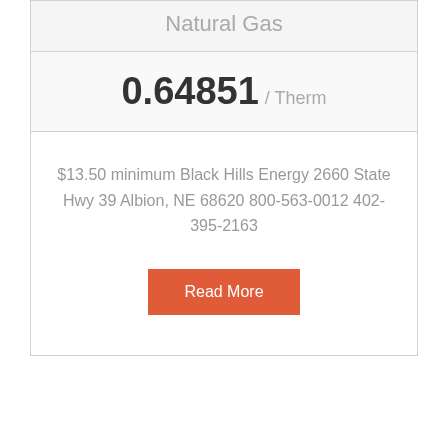Natural Gas
0.64851 / Therm
$13.50 minimum Black Hills Energy 2660 State Hwy 39 Albion, NE 68620 800-563-0012 402-395-2163
Read More